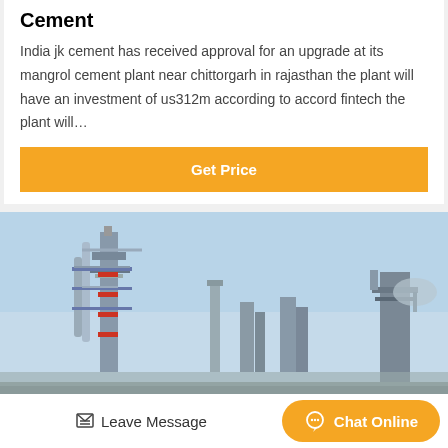Cement
India jk cement has received approval for an upgrade at its mangrol cement plant near chittorgarh in rajasthan the plant will have an investment of us312m according to accord fintech the plant will…
Get Price
[Figure (photo): Industrial cement plant with tall steel structures, pipes, and towers against a light blue sky]
Leave Message
Chat Online